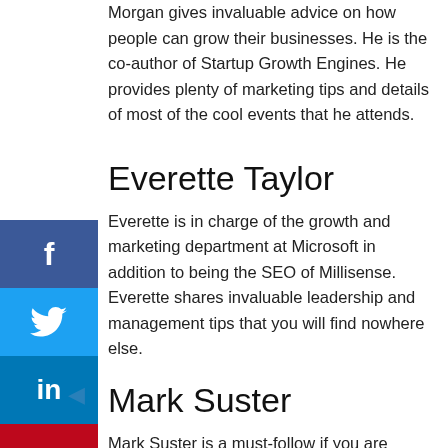Morgan gives invaluable advice on how people can grow their businesses. He is the co-author of Startup Growth Engines. He provides plenty of marketing tips and details of most of the cool events that he attends.
Everette Taylor
Everette is in charge of the growth and marketing department at Microsoft in addition to being the SEO of Millisense. Everette shares invaluable leadership and management tips that you will find nowhere else.
Mark Suster
Mark Suster is a must-follow if you are interested in Venture Capital. He shares stories on life in Silicon Valley as well as tips on how to effectively attract someone's attention using an email.
Justin Wu
Justin Wu is a self-proclaimed growth hacker who also doubles